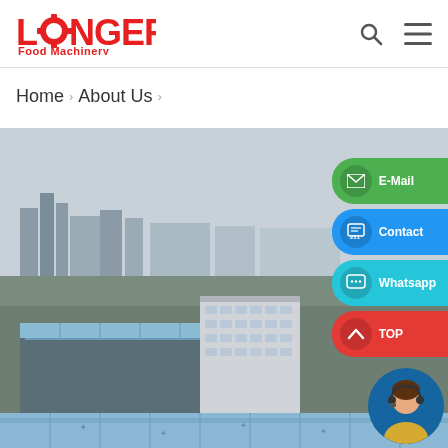[Figure (logo): LONGER Food Machinery logo with red gear icon and red text]
Home » About Us »
[Figure (photo): Aerial view of Longer Food Machinery factory complex with industrial buildings and city skyline in background]
[Figure (infographic): Floating action buttons on right side: E-Mail (green), Contact (blue), Whatsapp (cyan), TOP (red), and customer service avatar]